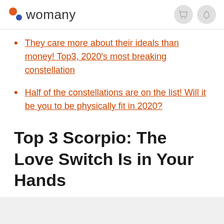womany
They care more about their ideals than money! Top3, 2020's most breaking constellation
Half of the constellations are on the list! Will it be you to be physically fit in 2020?
Top 3 Scorpio: The Love Switch Is in Your Hands